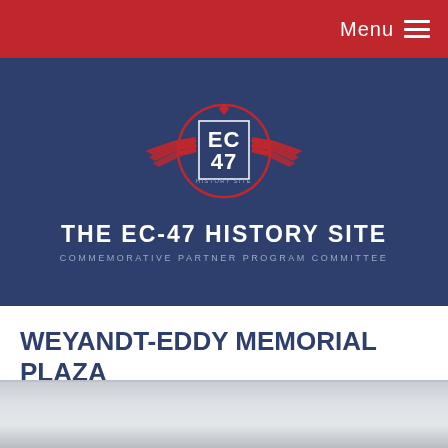Menu ☰
[Figure (logo): EC-47 History Site logo with wings, circular border, and 'EC 47 HISTORY SITE' text on dark blue background with site title 'THE EC-47 HISTORY SITE' and subtitle 'COMMEMORATIVE PARTNER PROGRAM COMMITTEE']
WEYANDT-EDDY MEMORIAL PLAZA
[Figure (photo): Partial view of a gray/silver metallic surface or plaza, cut off at bottom of page]